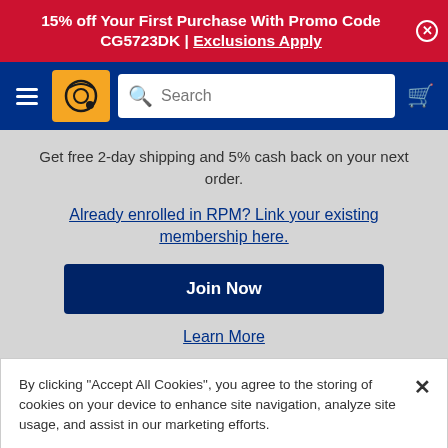15% off Your First Purchase With Promo Code CG5723DK | Exclusions Apply
[Figure (screenshot): Navigation bar with hamburger menu, Discount Tire logo on yellow background, search bar, and shopping cart icon on dark blue background]
Get free 2-day shipping and 5% cash back on your next order.
Already enrolled in RPM? Link your existing membership here.
Join Now
Learn More
By clicking "Accept All Cookies", you agree to the storing of cookies on your device to enhance site navigation, analyze site usage, and assist in our marketing efforts.
Cookies Settings
Accept All Cookies